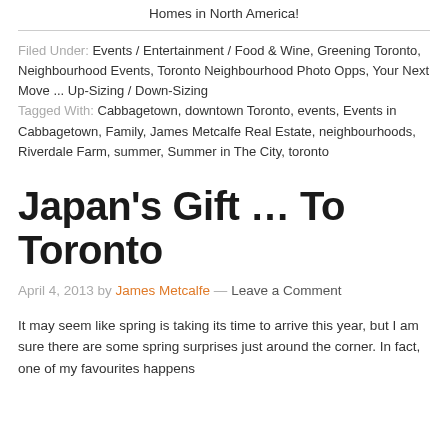Homes in North America!
Filed Under: Events / Entertainment / Food & Wine, Greening Toronto, Neighbourhood Events, Toronto Neighbourhood Photo Opps, Your Next Move ... Up-Sizing / Down-Sizing
Tagged With: Cabbagetown, downtown Toronto, events, Events in Cabbagetown, Family, James Metcalfe Real Estate, neighbourhoods, Riverdale Farm, summer, Summer in The City, toronto
Japan's Gift … To Toronto
April 4, 2013 by James Metcalfe — Leave a Comment
It may seem like spring is taking its time to arrive this year, but I am sure there are some spring surprises just around the corner. In fact, one of my favourites happens